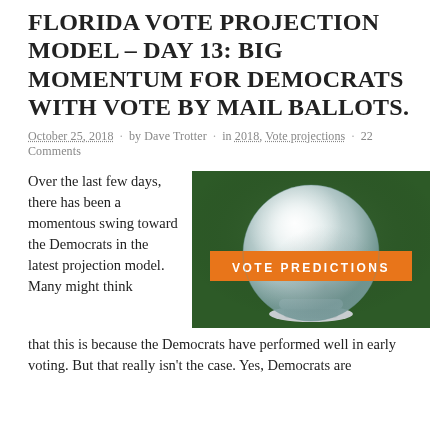FLORIDA VOTE PROJECTION MODEL – DAY 13: BIG MOMENTUM FOR DEMOCRATS WITH VOTE BY MAIL BALLOTS.
October 25, 2018 · by Dave Trotter · in 2018, Vote projections · 22 Comments
Over the last few days, there has been a momentous swing toward the Democrats in the latest projection model. Many might think that this is because the Democrats have performed well in early voting. But that really isn't the case. Yes, Democrats are
[Figure (illustration): Crystal ball with orange banner reading VOTE PREDICTIONS on a dark green background]
that this is because the Democrats have performed well in early voting. But that really isn't the case. Yes, Democrats are